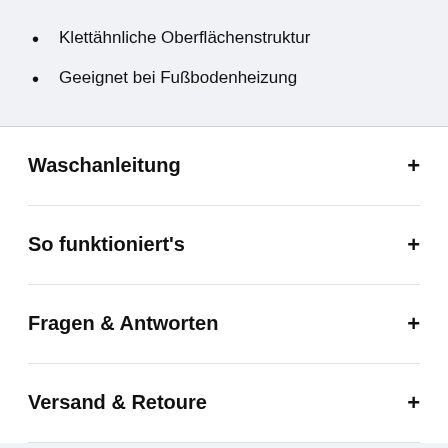Klettähnliche Oberflächenstruktur
Geeignet bei Fußbodenheizung
Waschanleitung
So funktioniert's
Fragen & Antworten
Versand & Retoure